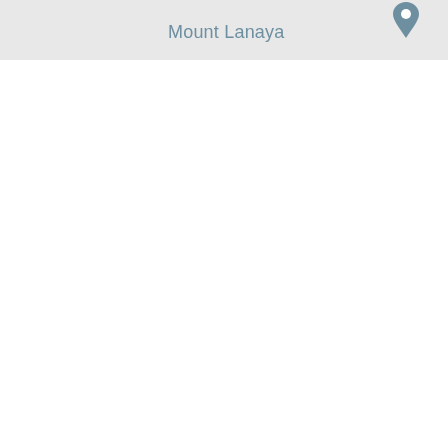[Figure (map): A map screenshot showing a light grey map background with a location pin marker and the label 'Mount Lanaya' in muted teal/blue-grey text, positioned near the top-left area of the map.]